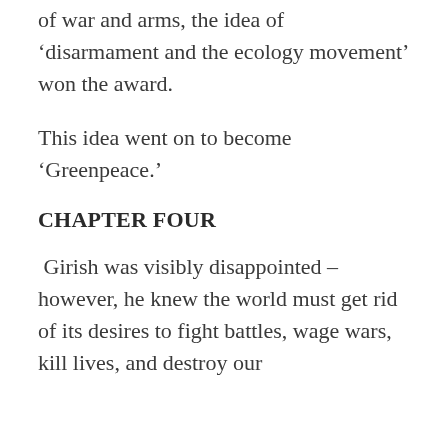A winner had to be chosen. In the times of war and arms, the idea of ‘disarmament and the ecology movement’ won the award.
This idea went on to become ‘Greenpeace.’
CHAPTER FOUR
Girish was visibly disappointed – however, he knew the world must get rid of its desires to fight battles, wage wars, kill lives, and destroy our